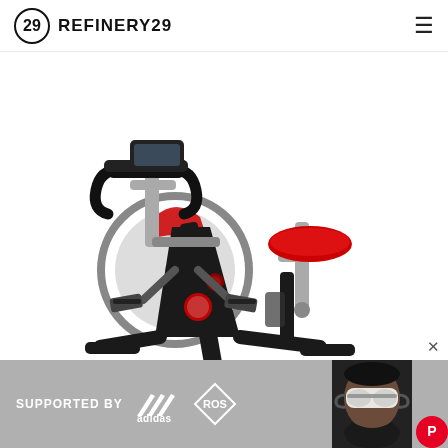REFINERY29
[Figure (photo): Indoor cycling / spinning exercise bike with black frame, red seat, red flywheel cover, drop handlebars, and digital display. White background.]
[Figure (photo): Advertisement banner: 'SUPPORTED BY adidas ROS' with a photo of a person wearing ski goggles on the right side.]